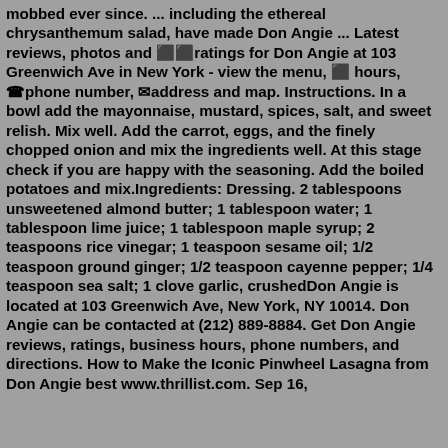mobbed ever since. ... including the ethereal chrysanthemum salad, have made Don Angie ... Latest reviews, photos and ⬛⬛ratings for Don Angie at 103 Greenwich Ave in New York - view the menu, ⬛ hours, ☎phone number, ⬛address and map. Instructions. In a bowl add the mayonnaise, mustard, spices, salt, and sweet relish. Mix well. Add the carrot, eggs, and the finely chopped onion and mix the ingredients well. At this stage check if you are happy with the seasoning. Add the boiled potatoes and mix.Ingredients: Dressing. 2 tablespoons unsweetened almond butter; 1 tablespoon water; 1 tablespoon lime juice; 1 tablespoon maple syrup; 2 teaspoons rice vinegar; 1 teaspoon sesame oil; 1/2 teaspoon ground ginger; 1/2 teaspoon cayenne pepper; 1/4 teaspoon sea salt; 1 clove garlic, crushedDon Angie is located at 103 Greenwich Ave, New York, NY 10014. Don Angie can be contacted at (212) 889-8884. Get Don Angie reviews, ratings, business hours, phone numbers, and directions. How to Make the Iconic Pinwheel Lasagna from Don Angie best www.thrillist.com. Sep 16,